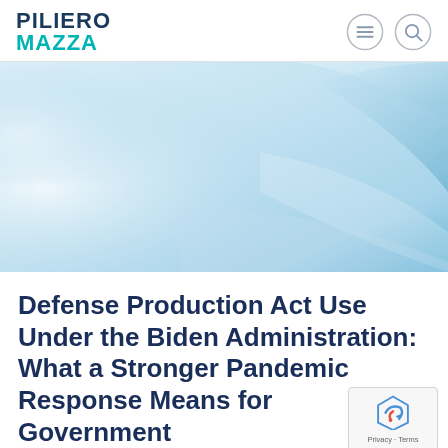PILIERO MAZZA
[Figure (illustration): Abstract blue and white gradient hero banner with soft curved light reflections, decorative background image for law firm website]
Defense Production Act Use Under the Biden Administration: What a Stronger Pandemic Response Means for Government